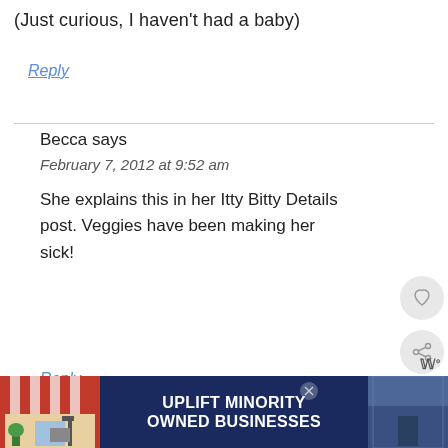(Just curious, I haven't had a baby)
Reply
Becca says
February 7, 2012 at 9:52 am
She explains this in her Itty Bitty Details post. Veggies have been making her sick!
Reply
[Figure (infographic): UPLIFT MINORITY OWNED BUSINESSES advertisement banner with store illustration]
[Figure (other): What's Next panel showing The Mid-Night Crisis thumbnail and label]